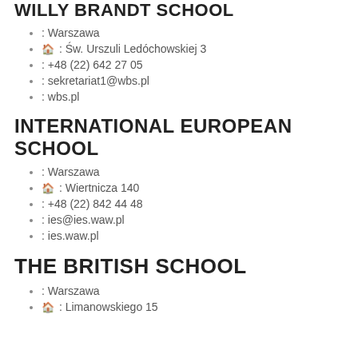WILLY BRANDT SCHOOL (partial, cut off)
: Warszawa
🏠 : Św. Urszuli Ledóchowskiej 3
: +48 (22) 642 27 05
: sekretariat1@wbs.pl
: wbs.pl
INTERNATIONAL EUROPEAN SCHOOL
: Warszawa
🏠 : Wiertnicza 140
: +48 (22) 842 44 48
: ies@ies.waw.pl
: ies.waw.pl
THE BRITISH SCHOOL
: Warszawa
🏠 : Limanowskiego 15 (partial)